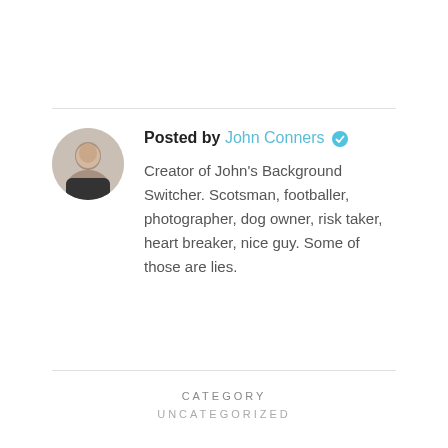Posted by John Conners [verified] Creator of John's Background Switcher. Scotsman, footballer, photographer, dog owner, risk taker, heart breaker, nice guy. Some of those are lies.
CATEGORY
UNCATEGORIZED